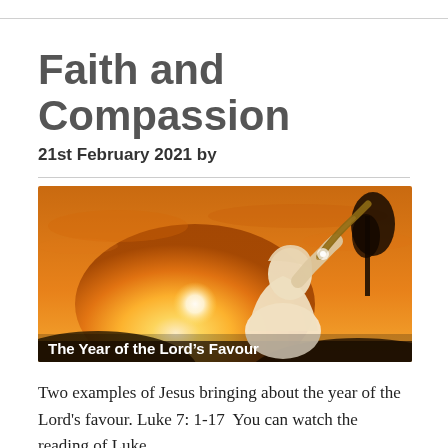Faith and Compassion
21st February 2021 by
[Figure (photo): A person in white robes blowing a shofar (ram's horn) against a golden sunset sky, with hills and a tree silhouetted in the background. Text overlay at the bottom reads 'The Year of the Lord's Favour']
The Year of the Lord's Favour
Two examples of Jesus bringing about the year of the Lord's favour. Luke 7: 1-17  You can watch the reading of Luke